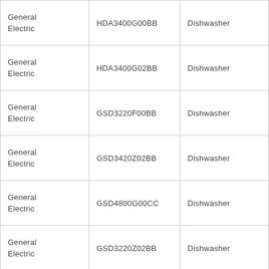| General Electric | HDA3400G00BB | Dishwasher |
| General Electric | HDA3400G02BB | Dishwasher |
| General Electric | GSD3220F00BB | Dishwasher |
| General Electric | GSD3420Z02BB | Dishwasher |
| General Electric | GSD4800G00CC | Dishwasher |
| General Electric | GSD3220Z02BB | Dishwasher |